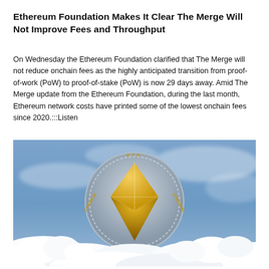Ethereum Foundation Makes It Clear The Merge Will Not Improve Fees and Throughput
On Wednesday the Ethereum Foundation clarified that The Merge will not reduce onchain fees as the highly anticipated transition from proof-of-work (PoW) to proof-of-stake (PoW) is now 29 days away. Amid The Merge update from the Ethereum Foundation, during the last month, Ethereum network costs have printed some of the lowest onchain fees since 2020.:::Listen
[Figure (photo): Photo of a large Ethereum coin with the ETH logo and gold diamond shape emblem, rising from white clouds against a blue cloudy sky background.]